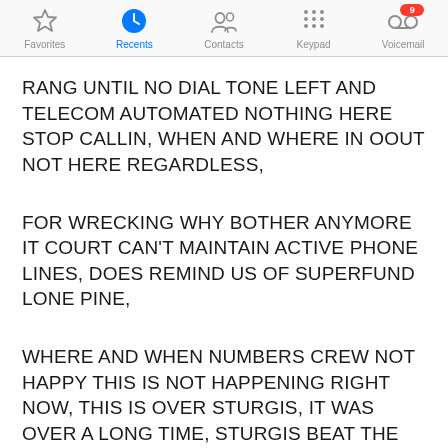[Figure (screenshot): iOS Phone app tab bar showing Favorites, Recents (active/selected in blue), Contacts, Keypad, and Voicemail (with badge count 9) tabs]
RANG UNTIL NO DIAL TONE LEFT AND TELECOM AUTOMATED NOTHING HERE STOP CALLIN, WHEN AND WHERE IN OOUT NOT HERE REGARDLESS,
FOR WRECKING WHY BOTHER ANYMORE IT COURT CAN'T MAINTAIN ACTIVE PHONE LINES, DOES REMIND US OF SUPERFUND LONE PINE,
WHERE AND WHEN NUMBERS CREW NOT HAPPY THIS IS NOT HAPPENING RIGHT NOW, THIS IS OVER STURGIS, IT WAS OVER A LONG TIME, STURGIS BEAT THE FUCK OUT,